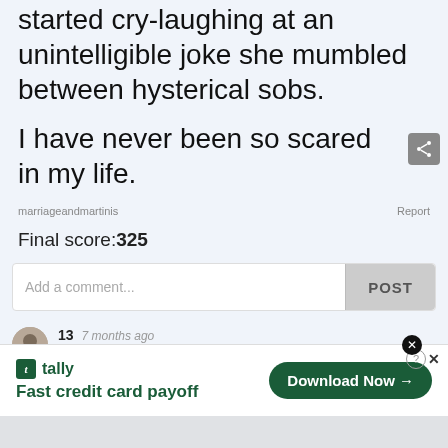started cry-laughing at an unintelligible joke she mumbled between hysterical sobs.
I have never been so scared in my life.
marriageandmartinis
Report
Final score:325
Add a comment...
POST
13  7 months ago
Slowly move backwards to a safe distance and break out the emergency chocolate treats. Gently lob them, do not handfeed
[Figure (infographic): Tally app advertisement banner: Tally logo, text 'Fast credit card payoff', and a 'Download Now' button with arrow]